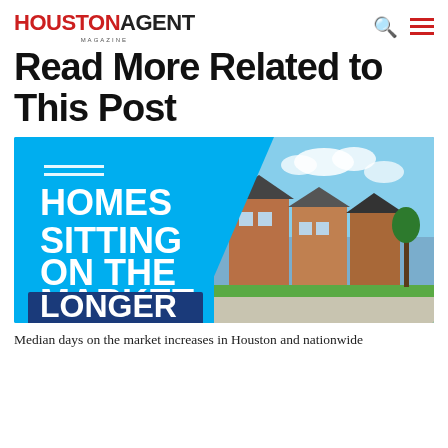HOUSTON AGENT MAGAZINE
Read More Related to This Post
[Figure (illustration): Promotional graphic for an article about homes sitting on the market longer. Left side shows blue background with white bold text 'HOMES SITTING ON THE MARKET LONGER' with a dark blue banner at the bottom. Right side shows a photo of brick townhouses with blue sky.]
Median days on the market increases in Houston and nationwide